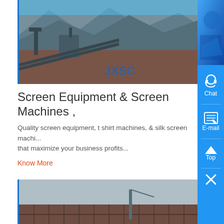[Figure (photo): Industrial quarry/mining site with large equipment and mountains in background, branded with JXSC logo]
Screen Equipment & Screen Machines ,
Quality screen equipment, t shirt machines, & silk screen machi... that maximize your business profits...
Know More
[Figure (photo): Aerial view of a large industrial construction or mining site with scaffolding and equipment, branded with JXSC logo]
Shop by Equipment Brand | Screen by Ryonet
Ryonet stocks a wide variety of high-quality screen equipment f...